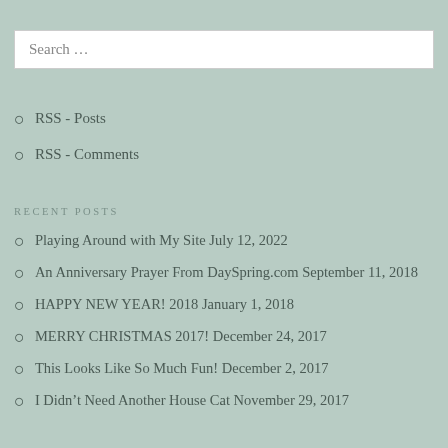Search …
RSS - Posts
RSS - Comments
RECENT POSTS
Playing Around with My Site July 12, 2022
An Anniversary Prayer From DaySpring.com September 11, 2018
HAPPY NEW YEAR! 2018 January 1, 2018
MERRY CHRISTMAS 2017! December 24, 2017
This Looks Like So Much Fun! December 2, 2017
I Didn't Need Another House Cat November 29, 2017